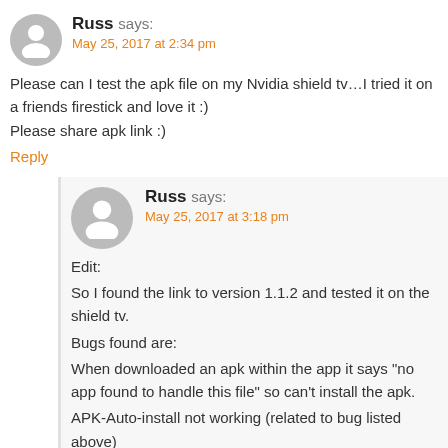Russ says:
May 25, 2017 at 2:34 pm
Please can I test the apk file on my Nvidia shield tv…I tried it on a friends firestick and love it :)
Please share apk link :)
Reply
Russ says:
May 25, 2017 at 3:18 pm
Edit:
So I found the link to version 1.1.2 and tested it on the shield tv.
Bugs found are:
When downloaded an apk within the app it says "no app found to handle this file" so can't install the apk.
APK-Auto-install not working (related to bug listed above)
When selecting the favourites menu on the left panel and selecting a favourite the app crashes.
I will test for more bugs…
Would be nice to be able to set the browser homepage to